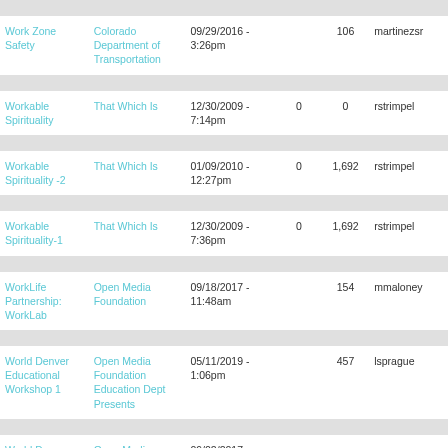| Title | Channel | Date | Col4 | Col5 | User |
| --- | --- | --- | --- | --- | --- |
| Work Zone Safety | Colorado Department of Transportation | 09/29/2016 - 3:26pm |  | 106 | martinezsr |
| Workable Spirituality | That Which Is | 12/30/2009 - 7:14pm | 0 | 0 | rstrimpel |
| Workable Spirituality -2 | That Which Is | 01/09/2010 - 12:27pm | 0 | 1,692 | rstrimpel |
| Workable Spirituality-1 | That Which Is | 12/30/2009 - 7:36pm | 0 | 1,692 | rstrimpel |
| WorkLife Partnership: WorkLab | Open Media Foundation | 09/18/2017 - 11:48am |  | 154 | mmaloney |
| World Denver Educational Workshop 1 | Open Media Foundation Education Dept Presents | 05/11/2019 - 1:06pm |  | 457 | lsprague |
| World Denver Iraqi Delegation | Open Media Foundation | 09/02/2017 |  |  |  |